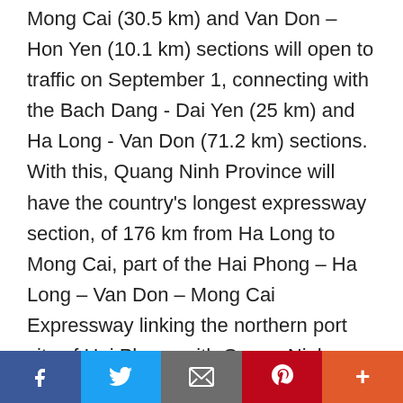Mong Cai (30.5 km) and Van Don – Hon Yen (10.1 km) sections will open to traffic on September 1, connecting with the Bach Dang - Dai Yen (25 km) and Ha Long - Van Don (71.2 km) sections. With this, Quang Ninh Province will have the country's longest expressway section, of 176 km from Ha Long to Mong Cai, part of the Hai Phong – Ha Long – Van Don – Mong Cai Expressway linking the northern port city of Hai Phong with Quang Ninh. There are, however, no gas stations or rest stops along the route. Do Quan from Hanoi said he frequently travelled to Quang Ninh Province for work. While the express will make it more convenient to travel, there are no gas stations on
[Figure (other): Social sharing toolbar with Facebook, Twitter, Email, Pinterest, and More (+) buttons]